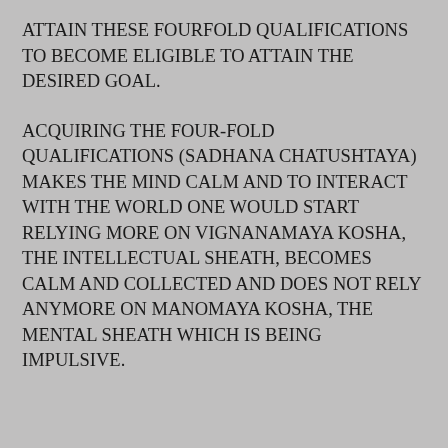ATTAIN THESE FOURFOLD QUALIFICATIONS TO BECOME ELIGIBLE TO ATTAIN THE DESIRED GOAL.
ACQUIRING THE FOUR-FOLD QUALIFICATIONS (SADHANA CHATUSHTAYA) MAKES THE MIND CALM AND TO INTERACT WITH THE WORLD ONE WOULD START RELYING MORE ON VIGNANAMAYA KOSHA, THE INTELLECTUAL SHEATH, BECOMES CALM AND COLLECTED AND DOES NOT RELY ANYMORE ON MANOMAYA KOSHA, THE MENTAL SHEATH WHICH IS BEING IMPULSIVE.